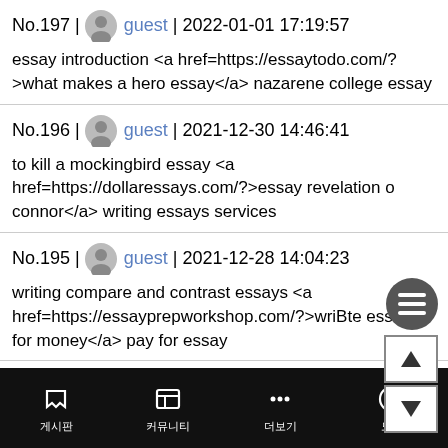No.197 | guest | 2022-01-01 17:19:57
essay introduction <a href=https://essaytodo.com/?>what makes a hero essay</a> nazarene college essay
No.196 | guest | 2021-12-30 14:46:41
to kill a mockingbird essay <a href=https://dollaressays.com/?>essay revelation o connor</a> writing essays services
No.195 | guest | 2021-12-28 14:04:23
writing compare and contrast essays <a href=https://essayprepworkshop.com/?>wriBte essays for money</a> pay for essay
No.194 | guest | 2021-12-27 10:08:39
writing essays about literature <a href=https://checkyouressay…
게시판  커뮤니티  더보기  도움